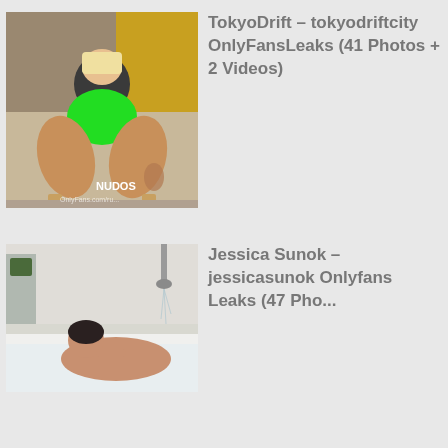[Figure (photo): Woman in green bodysuit posing on a chair, with watermark NUDOS and OnlyFans.com/ru partial text]
TokyoDrift – tokyodriftcity OnlyFansLeaks (41 Photos + 2 Videos)
[Figure (photo): Person in a bathtub scene, partially visible]
Jessica Sunok – jessicasunok Onlyfans Leaks (47 Photos…)